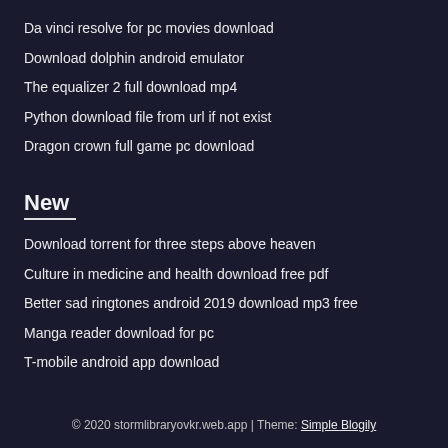Da vinci resolve for pc movies download
Download dolphin android emulator
The equalizer 2 full download mp4
Python download file from url if not exist
Dragon crown full game pc download
New
Download torrent for three steps above heaven
Culture in medicine and health download free pdf
Better sad ringtones android 2019 download mp3 free
Manga reader download for pc
T-mobile android app download
© 2020 stormlibraryovkr.web.app | Theme: Simple Blogily